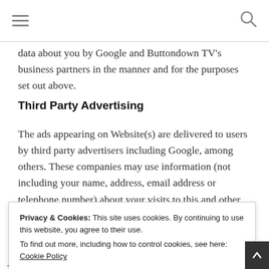[hamburger menu] [search icon]
data about you by Google and Buttondown TV's business partners in the manner and for the purposes set out above.
Third Party Advertising
The ads appearing on Website(s) are delivered to users by third party advertisers including Google, among others. These companies may use information (not including your name, address, email address or telephone number) about your visits to this and other websites in order to provide advertisements on this site and other sites about goods and
Privacy & Cookies: This site uses cookies. By continuing to use this website, you agree to their use.
To find out more, including how to control cookies, see here: Cookie Policy
[Close and accept]
to serve ads and collect non-personally identifiable information (e.g., the pages you visit, and which links you